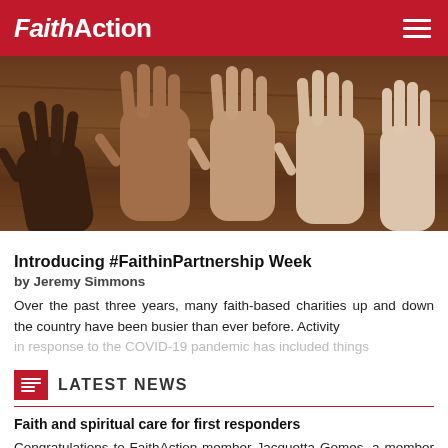FaithAction
[Figure (photo): Multiple hands of diverse skin tones resting palm-down on a wooden surface]
Introducing #FaithinPartnership Week
by Jeremy Simmons
Over the past three years, many faith-based charities up and down the country have been busier than ever before. Activity in response to the COVID-19 pandemic has included things
LATEST NEWS
Faith and spiritual care for first responders
Congratulations to FaithAction member Jacquetta Gomes, a member of SCA Spiritual Care Association ERCD First